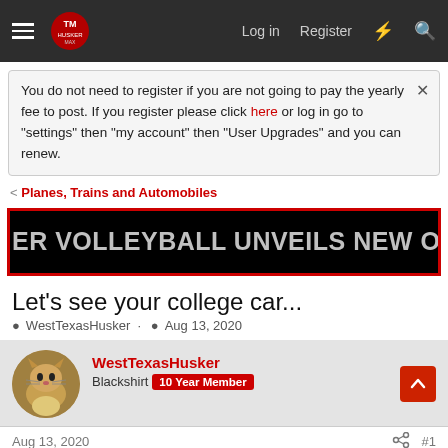HuskerMax navigation bar with Log in, Register links
You do not need to register if you are not going to pay the yearly fee to post. If you register please click here or log in go to "settings" then "my account" then "User Upgrades" and you can renew.
< Planes, Trains and Automobiles
[Figure (screenshot): Black banner with red border showing scrolling text: ER VOLLEYBALL UNVEILS NEW OFFENSE IN SWEEP OF]
Let's see your college car...
WestTexasHusker · Aug 13, 2020
WestTexasHusker
Blackhsirt 10 Year Member
Aug 13, 2020   #1